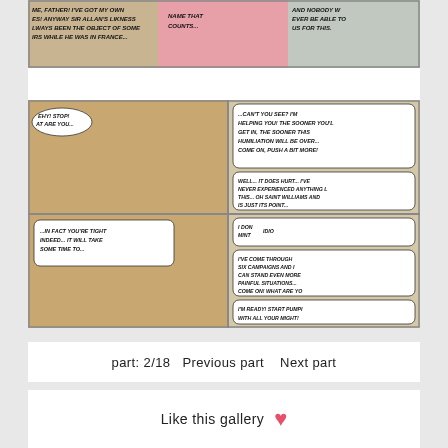[Figure (illustration): Comic strip page showing adult comic panels with figures and speech bubbles in a forest setting.]
part: 2/18  Previous part   Next part
Like this gallery  ♥